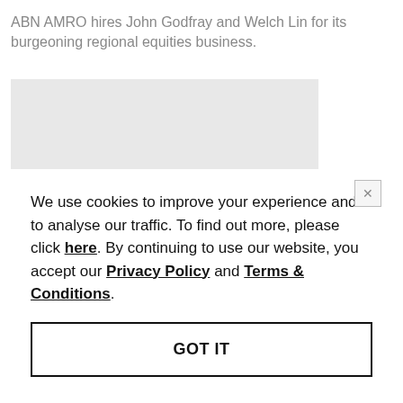ABN AMRO hires John Godfray and Welch Lin for its burgeoning regional equities business.
[Figure (other): Gray placeholder image rectangle]
We use cookies to improve your experience and to analyse our traffic. To find out more, please click here. By continuing to use our website, you accept our Privacy Policy and Terms & Conditions.